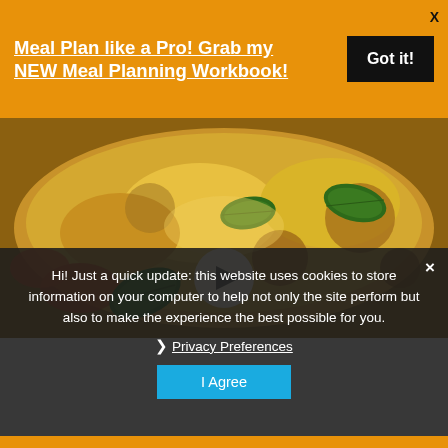Meal Plan like a Pro! Grab my NEW Meal Planning Workbook!
Got it!
[Figure (photo): Close-up photo of a baked casserole dish with golden breadcrumb topping, melted cheese, and fresh basil leaves, with a play button overlay in the center.]
Hi! Just a quick update: this website uses cookies to store information on your computer to help not only the site perform but also to make the experience the best possible for you.
❯ Privacy Preferences
I Agree